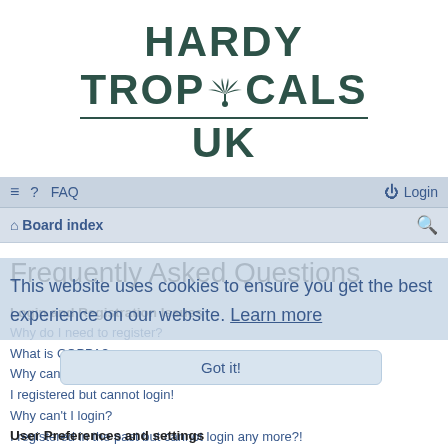[Figure (logo): Hardy Tropicals UK logo in dark teal/green with palm tree icon in the word TROPICALS, underlined]
≡ ? FAQ  Login
⌂ Board index  🔍
Frequently Asked Questions
Login and Registration Issues
Why do I need to register?
What is COPPA?
Why can't I register?
I registered but cannot login!
Why can't I login?
I registered in the past but cannot login any more?!
I've lost my password!
Why do I get logged off automatically?
What does the "Delete cookies" do?
This website uses cookies to ensure you get the best experience on our website. Learn more
Got it!
User Preferences and settings